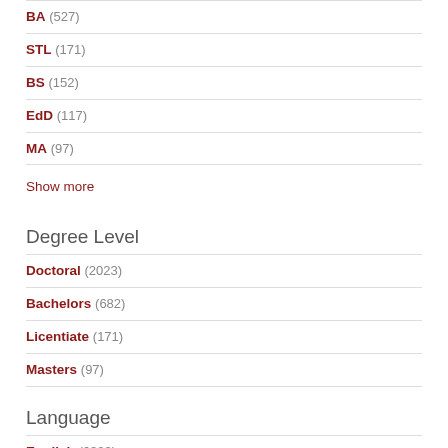BA (527)
STL (171)
BS (152)
EdD (117)
MA (97)
Show more
Degree Level
Doctoral (2023)
Bachelors (682)
Licentiate (171)
Masters (97)
Language
English (6303)
Spanish (21)
French (11)
Italian (2)